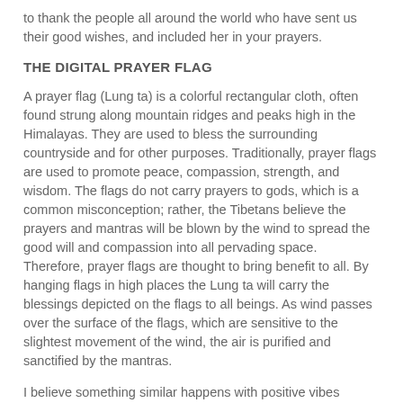to thank the people all around the world who have sent us their good wishes, and included her in your prayers.
THE DIGITAL PRAYER FLAG
A prayer flag (Lung ta) is a colorful rectangular cloth, often found strung along mountain ridges and peaks high in the Himalayas. They are used to bless the surrounding countryside and for other purposes. Traditionally, prayer flags are used to promote peace, compassion, strength, and wisdom. The flags do not carry prayers to gods, which is a common misconception; rather, the Tibetans believe the prayers and mantras will be blown by the wind to spread the good will and compassion into all pervading space. Therefore, prayer flags are thought to bring benefit to all. By hanging flags in high places the Lung ta will carry the blessings depicted on the flags to all beings. As wind passes over the surface of the flags, which are sensitive to the slightest movement of the wind, the air is purified and sanctified by the mantras.
I believe something similar happens with positive vibes